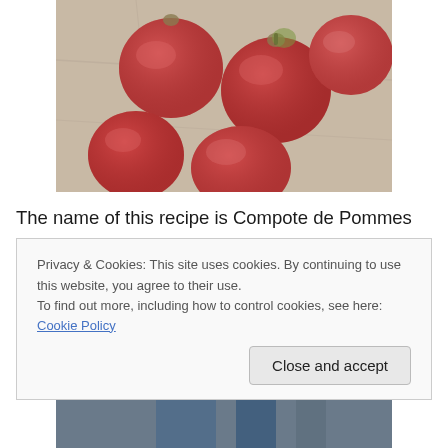[Figure (photo): Several red apples on a light stone or marble surface, photographed from above]
The name of this recipe is Compote de Pommes Two Ways. Basically, Dorie gives us a very basic recipe for apple sauce (way 1), and then tells us that we can just leave it on the stove for another hour or so and see what happens (way 2). I'll be honest, as I was cutting up my apples and putting them on to cook, I still had no idea
Privacy & Cookies: This site uses cookies. By continuing to use this website, you agree to their use.
To find out more, including how to control cookies, see here: Cookie Policy
[Figure (photo): Partial photo at bottom, appears to show a cooking scene with blue elements]